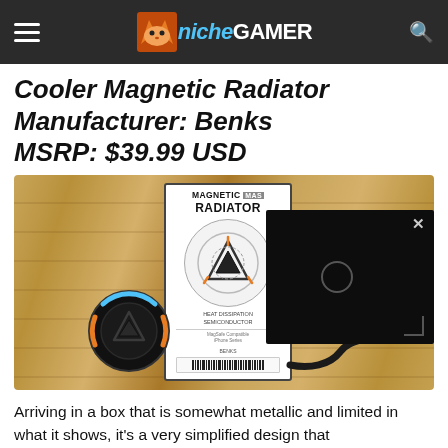Niche Gamer — navigation bar
Cooler Magnetic Radiator
Manufacturer: Benks
MSRP: $39.99 USD
[Figure (photo): Product photo showing Benks Magnetic Radiator box packaging, the puck-shaped device, and a USB cable laid out on a bamboo wood surface. A dark video overlay panel with an X close button is visible on the right side.]
Arriving in a box that is somewhat metallic and limited in what it shows, it's a very simplified design that